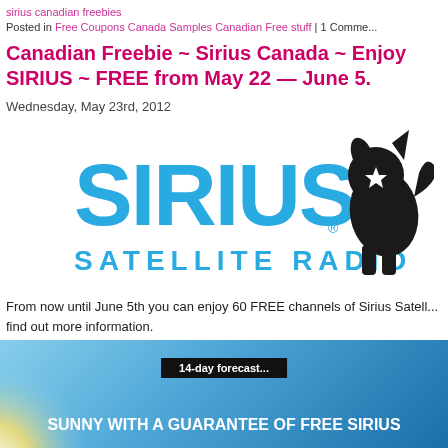sirius canadian freebies
Posted in Free Coupons Canada Samples Canadian Free stuff | 1 Comme...
Canadian Freebie ~ Sirius Canada ~ Enjoy SIRIUS ~ FREE from May 22 — June 5.
Wednesday, May 23rd, 2012
[Figure (logo): Sirius Satellite Radio logo in blue with a black dog silhouette with a star]
From now until June 5th you can enjoy 60 FREE channels of Sirius Satell... find out more information.
[Figure (infographic): Advertisement banner with blue sky background, '14-day forecast...' label, and text 'SUNNY WITH A GUARANTEE OF FREE SIRIUS']